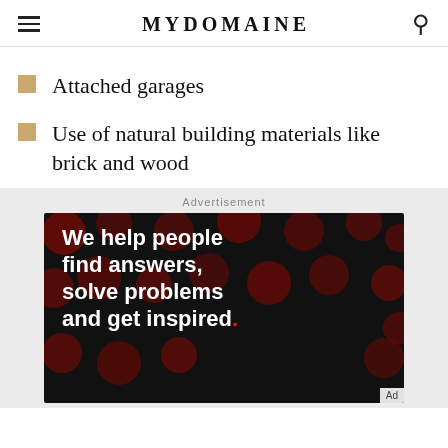MYDOMAINE
Attached garages
Use of natural building materials like brick and wood
Advertisement
[Figure (photo): Advertisement banner with black background, dark red dots pattern, and white bold text reading: We help people find answers, solve problems and get inspired. with a red period at the end.]